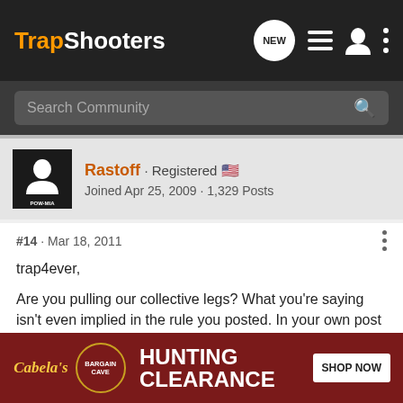TrapShooters
Search Community
Rastoff · Registered
Joined Apr 25, 2009 · 1,329 Posts
#14 · Mar 18, 2011
trap4ever,

Are you pulling our collective legs? What you're saying isn't even implied in the rule you posted. In your own post it says that shoot management can squad less than 5 if they feel it will help.

I don't u
[Figure (screenshot): Cabela's Hunting Clearance advertisement banner with 'BARGAIN CAVE' circular badge and 'SHOP NOW' button]